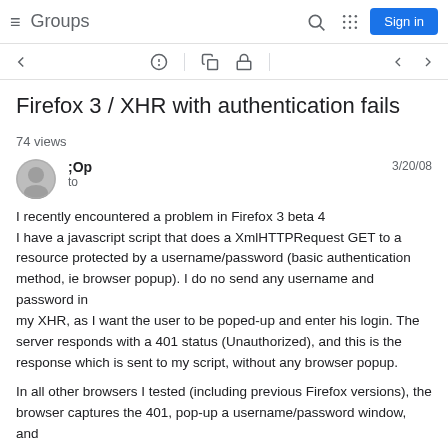≡ Groups  [search icon] [grid icon]  Sign in
Firefox 3 / XHR with authentication fails
74 views
;Op  to  3/20/08
I recently encountered a problem in Firefox 3 beta 4
I have a javascript script that does a XmlHTTPRequest GET to a resource protected by a username/password (basic authentication method, ie browser popup). I do no send any username and password in
my XHR, as I want the user to be poped-up and enter his login. The server responds with a 401 status (Unauthorized), and this is the response which is sent to my script, without any browser popup.

In all other browsers I tested (including previous Firefox versions), the browser captures the 401, pop-up a username/password window, and
resends the request to the server, then returns to the script the